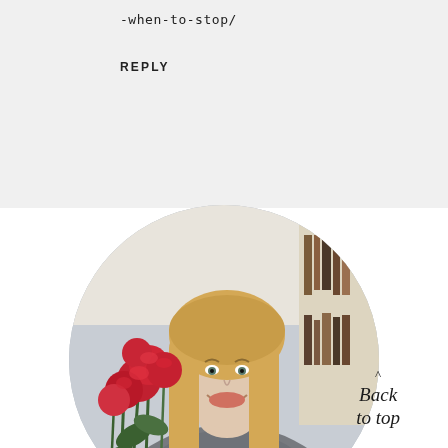-when-to-stop/
REPLY
[Figure (photo): A smiling woman with long blonde hair wearing a grey sweater, holding red roses, with bookshelves in the background. Image cropped in a circle.]
Back to top